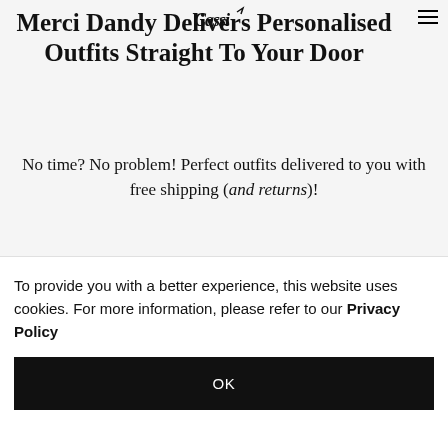Merci Dandy [logo] ☰
Merci Dandy Delivers Personalised Outfits Straight To Your Door
No time? No problem! Perfect outfits delivered to you with free shipping (and returns)!
Looking for a hot new look for your significant other, but [partially obscured]
To provide you with a better experience, this website uses cookies. For more information, please refer to our Privacy Policy
OK